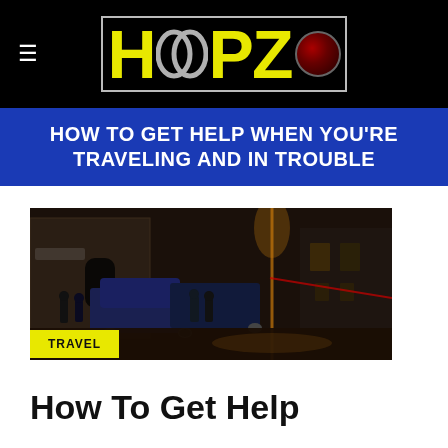HOOPZO
HOW TO GET HELP WHEN YOU'RE TRAVELING AND IN TROUBLE
[Figure (photo): Night street scene with police vehicles and officers outside an illuminated urban building]
TRAVEL
How To Get Help